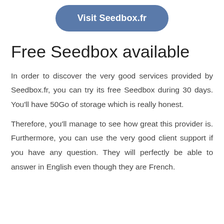[Figure (other): A rounded rectangular button with blue-grey background and white bold text reading 'Visit Seedbox.fr']
Free Seedbox available
In order to discover the very good services provided by Seedbox.fr, you can try its free Seedbox during 30 days. You'll have 50Go of storage which is really honest.
Therefore, you'll manage to see how great this provider is. Furthermore, you can use the very good client support if you have any question. They will perfectly be able to answer in English even though they are French.